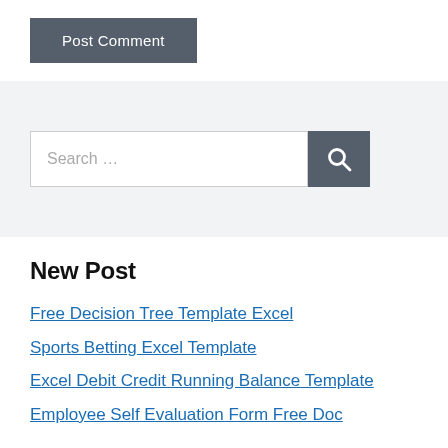Post Comment
Search …
New Post
Free Decision Tree Template Excel
Sports Betting Excel Template
Excel Debit Credit Running Balance Template
Employee Self Evaluation Form Free Doc